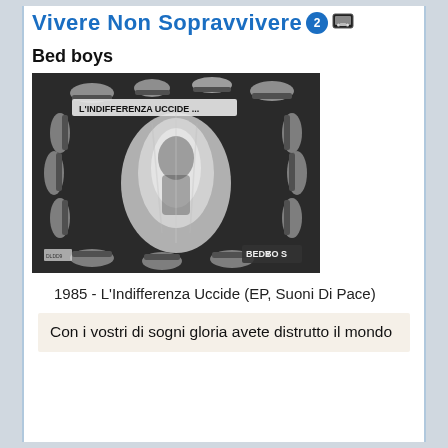Vivere Non Sopravvivere
Bed boys
[Figure (photo): Black and white album cover artwork showing multiple laughing mouths/teeth arranged around edges with text 'L'INDIFFERENZA UCCIDE...' at the top and 'BEDBOYS' logo at the bottom right.]
1985 - L'Indifferenza Uccide (EP, Suoni Di Pace)
Con i vostri di sogni gloria avete distrutto il mondo